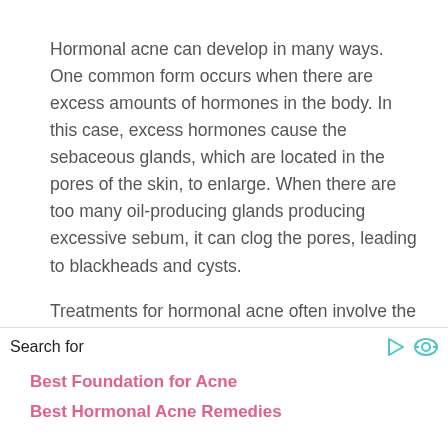Hormonal acne can develop in many ways. One common form occurs when there are excess amounts of hormones in the body. In this case, excess hormones cause the sebaceous glands, which are located in the pores of the skin, to enlarge. When there are too many oil-producing glands producing excessive sebum, it can clog the pores, leading to blackheads and cysts.
Treatments for hormonal acne often involve the use of oral contraceptives, or birth control pills. These pills prevent ovulation, which prevents the release of testosterone, a male hormone, into the bloodstream. When a woman is taking an oral contraceptive, the amount of testosterone that is released into her body is
Search for
Best Foundation for Acne
Best Hormonal Acne Remedies